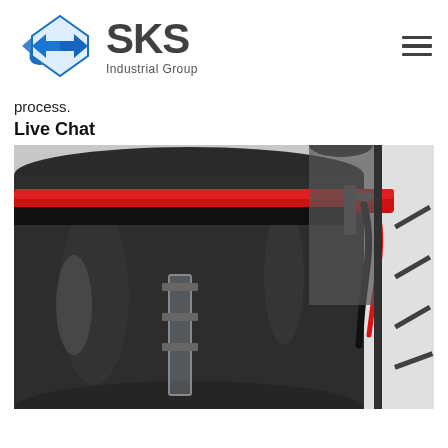[Figure (logo): SKS Industrial Group logo with blue diamond chevron icon and gray text]
process.
Live Chat
[Figure (photo): Close-up industrial photo of a large dark cylindrical tank or vessel with a bright red band/clamp around the top, black insulation padding, red and black cables/wires on the right side, and a transparent acrylic or glass tube/sight glass attached to the front. Metal rack structure visible on the right. Light colored wall in background.]